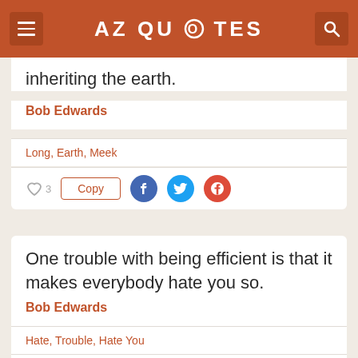AZ QUOTES
inheriting the earth.
Bob Edwards
Long, Earth, Meek
One trouble with being efficient is that it makes everybody hate you so.
Bob Edwards
Hate, Trouble, Hate You